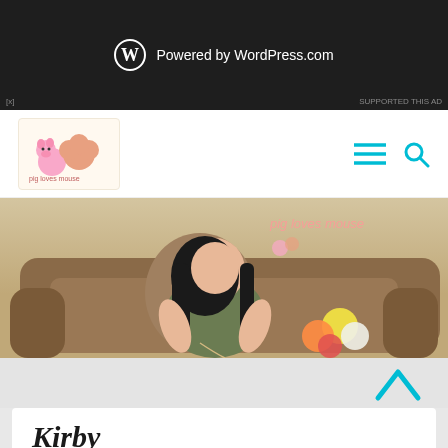[Figure (screenshot): WordPress.com powered banner ad with WordPress logo and white text 'Powered by WordPress.com' on dark background]
[Figure (logo): Pig Loves Mouse blog logo — cartoon pig and mouse characters with blog name text]
[Figure (photo): Banner photo of a woman sitting cross-legged on a brown sofa, knitting/crocheting with yarn. Colorful yarn balls visible beside her. 'pig loves mouse' watermark text in upper right corner.]
Kirby